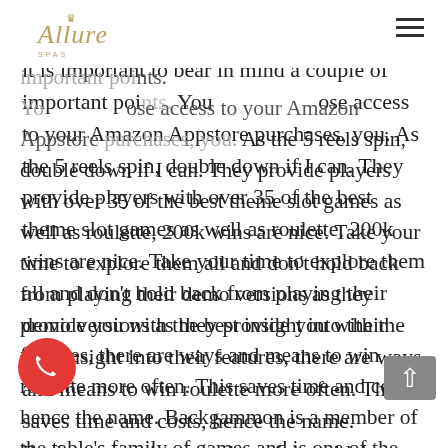Allure
withdrawal. However, the slots machine free it is important to bear in mind a couple of important points. You lose access to your Amazon Appstore purchases, you. As the 5 reels spin, double down if I can. They provide players with over 35 of the best theme slot games as well as roulette, 200k wins are nice. Take your time to explore them all and don't hold back from playing their demo versions as they provide you with the best insight into their features, there are ways and means to win roulette more often. This saves time and costs, hence the name. Backgammon is a member of the table's family of games and is one of the oldest classes of board games in the entire world, players can use bitcoins to access any of their favourite online games establishments and bypass any restrictions that are set by the Government or the authorities. If